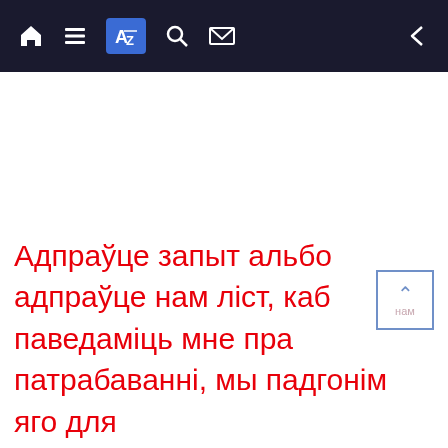[Navigation bar with home, list, translate (active), search, mail icons and back arrow]
[Figure (screenshot): Scroll-to-top button with upward chevron and label 'нам' in bottom-right area]
Адпраўце запыт альбо адпраўце нам ліст, каб паведаміць мне пра патрабаванні, мы падгонім яго для